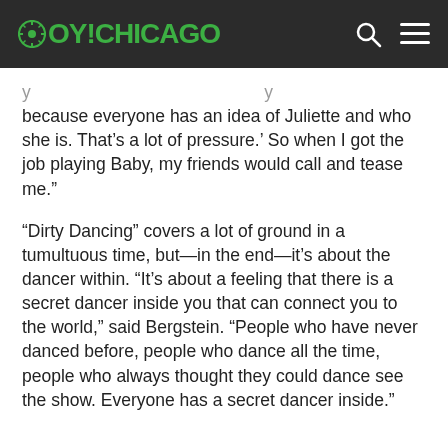OY!CHICAGO
because everyone has an idea of Juliette and who she is. That’s a lot of pressure.’ So when I got the job playing Baby, my friends would call and tease me.”
“Dirty Dancing” covers a lot of ground in a tumultuous time, but—in the end—it’s about the dancer within. “It’s about a feeling that there is a secret dancer inside you that can connect you to the world,” said Bergstein. “People who have never danced before, people who dance all the time, people who always thought they could dance see the show. Everyone has a secret dancer inside.”